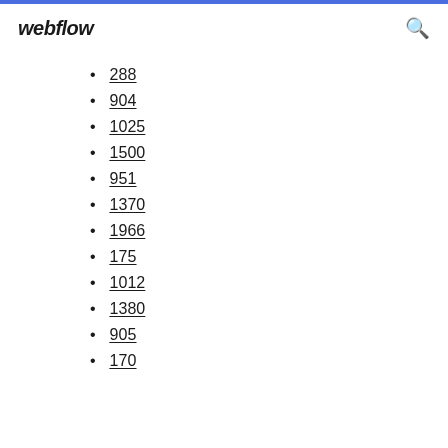webflow
288
904
1025
1500
951
1370
1966
175
1012
1380
905
170